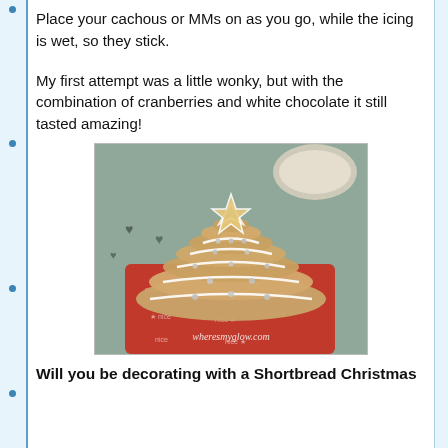Place your cachous or MMs on as you go, while the icing is wet, so they stick.
My first attempt was a little wonky, but with the combination of cranberries and white chocolate it still tasted amazing!
[Figure (photo): Star-shaped shortbread cookies stacked in a Christmas tree formation, decorated with white icing and silver cachous, displayed on a red Christmas-themed cloth. Watermark reads wheresmyglow.com]
Will you be decorating with a Shortbread Christmas